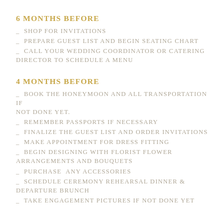6 Months Before
_ Shop for invitations
_ Prepare guest list and begin seating chart
_ Call your wedding coordinator or catering director to schedule a menu
4 Months Before
_ Book the honeymoon and all transportation if not done yet.
_ Remember passports if necessary
_ Finalize the guest list and order invitations
_ Make appointment for dress fitting
_ Begin designing with florist flower arrangements and bouquets
_ Purchase any accessories
_ Schedule ceremony rehearsal dinner & departure brunch
_ Take engagement pictures if not done yet